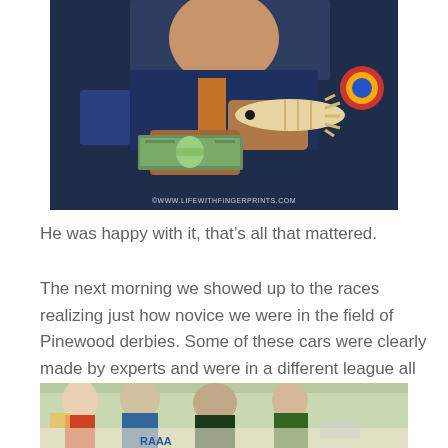[Figure (photo): Boy in Cub Scout uniform holding a fish-shaped wooden pinewood derby car in one hand and rolled dollar bills in the other hand. Watermark reads ©WWW.LIFEWITHFINGERPRINTS.COM]
He was happy with it, that's all that mattered.
The next morning we showed up to the races realizing just how novice we were in the field of Pinewood derbies. Some of these cars were clearly made by experts and were in a different league all together.
[Figure (photo): Partial view of people gathered at a Pinewood Derby race event, cropped at bottom of page.]